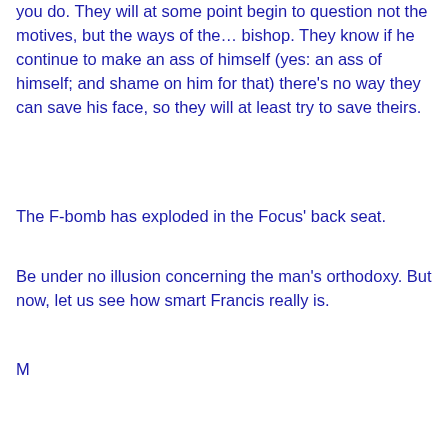you do. They will at some point begin to question not the motives, but the ways of the… bishop. They know if he continue to make an ass of himself (yes: an ass of himself; and shame on him for that) there's no way they can save his face, so they will at least try to save theirs.
The F-bomb has exploded in the Focus' back seat.
Be under no illusion concerning the man's orthodoxy. But now, let us see how smart Francis really is.
M